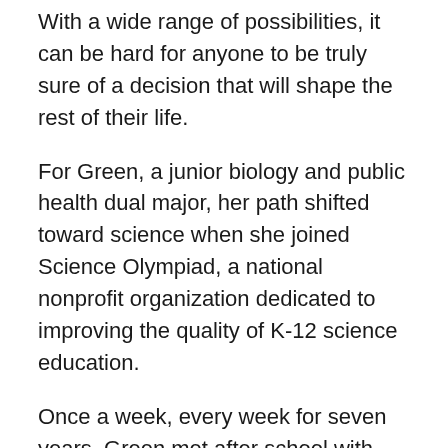With a wide range of possibilities, it can be hard for anyone to be truly sure of a decision that will shape the rest of their life.
For Green, a junior biology and public health dual major, her path shifted toward science when she joined Science Olympiad, a national nonprofit organization dedicated to improving the quality of K-12 science education.
Once a week, every week for seven years, Green met after school with her friends and mentors to learn and prepare for competitions. The organization gave her the opportunity to try out different areas of science such as chemistry, biology and physics. With events that range from building Rube Goldberg-like devices to others focused on microbes or designing experiments, the events and preparation run the gambit of science, medicine and engineering. Through the academic seasons, Green built on what she learned previously, expanded her knowledge